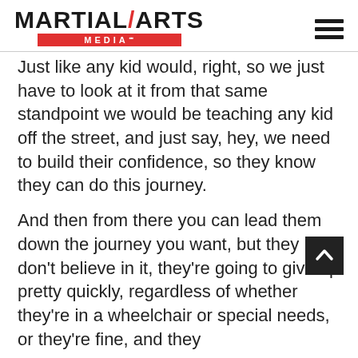[Figure (logo): Martial Arts Media logo with red MEDIA bar and hamburger menu icon]
Just like any kid would, right, so we just have to look at it from that same standpoint we would be teaching any kid off the street, and just say, hey, we need to build their confidence, so they know they can do this journey.
And then from there you can lead them down the journey you want, but they don't believe in it, they're going to give up pretty quickly, regardless of whether they're in a wheelchair or special needs, or they're fine, and they